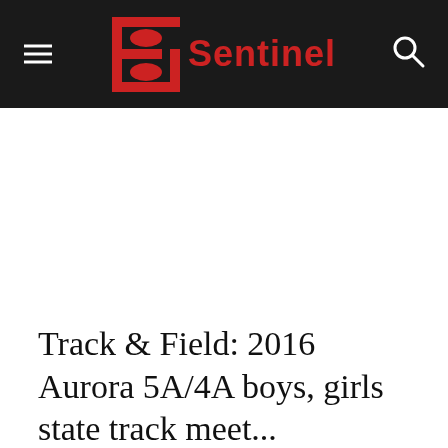Sentinel
Track & Field: 2016 Aurora 5A/4A boys, girls state track meet...